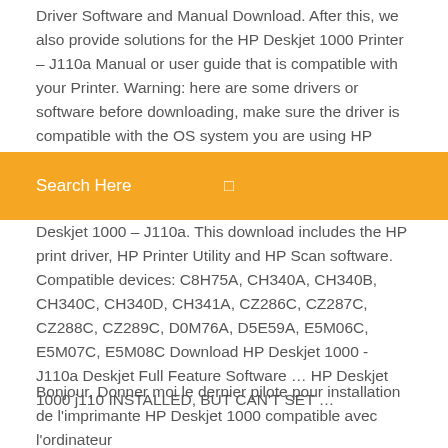Driver Software and Manual Download. After this, we also provide solutions for the HP Deskjet 1000 Printer – J110a Manual or user guide that is compatible with your Printer. Warning: here are some drivers or software before downloading, make sure the driver is compatible with the OS system you are using HP Deskjet 1000 J110a drivers (source). By visiting...
Search Here
Deskjet 1000 – J110a. This download includes the HP print driver, HP Printer Utility and HP Scan software. Compatible devices: C8H75A, CH340A, CH340B, CH340C, CH340D, CH341A, CZ286C, CZ287C, CZ288C, CZ289C, D0M76A, D5E59A, E5M06C, E5M07C, E5M08C Download HP Deskjet 1000 - J110a Deskjet Full Feature Software … HP Deskjet 1000 j110 INSTALLED, BUT CAN'T SET …
Bonjour, Donner moi le dernier pilote pour installation de l'imprimante HP Deskjet 1000 compatible avec l'ordinateur